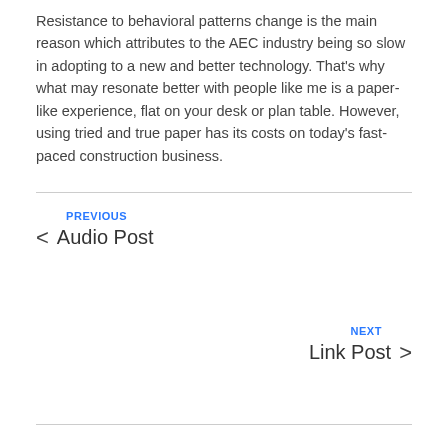Resistance to behavioral patterns change is the main reason which attributes to the AEC industry being so slow in adopting to a new and better technology. That's why what may resonate better with people like me is a paper-like experience, flat on your desk or plan table. However, using tried and true paper has its costs on today's fast-paced construction business.
PREVIOUS
< Audio Post
NEXT
Link Post >